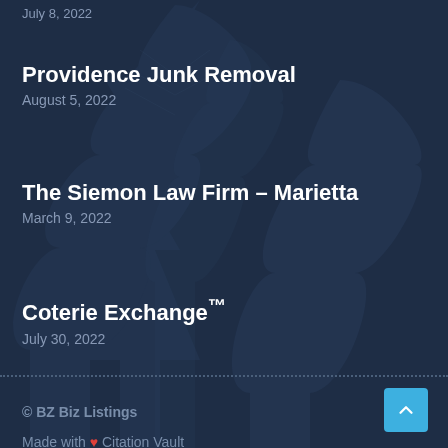July 8, 2022
Providence Junk Removal
August 5, 2022
The Siemon Law Firm – Marietta
March 9, 2022
Coterie Exchange™
July 30, 2022
© BZ Biz Listings
Made with ❤ Citation Vault